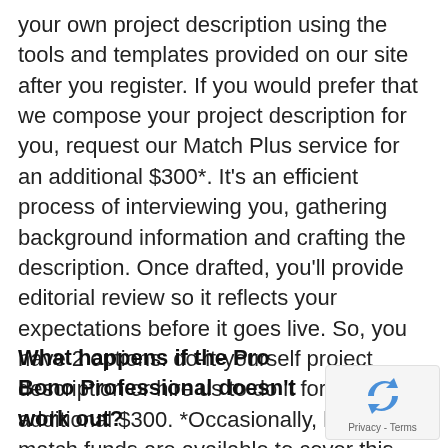your own project description using the tools and templates provided on our site after you register. If you would prefer that we compose your project description for you, request our Match Plus service for an additional $300*. It's an efficient process of interviewing you, gathering background information and crafting the description. Once drafted, you'll provide editorial review so it reflects your expectations before it goes live. So, you have 2 options: do-it-yourself project description or hire us to do it for an additional $300. *Occasionally, limited match funds are available to cover this cost.
What happens if the Pro Bono Professional doesn't work out?